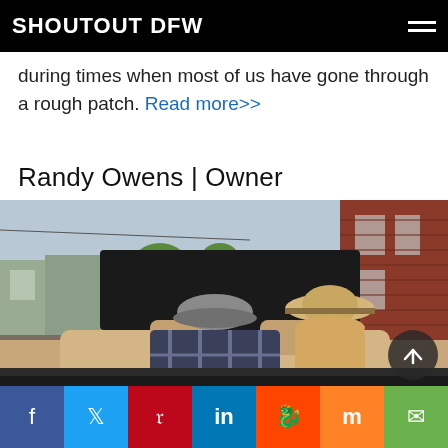SHOUTOUT DFW
during times when most of us have gone through a rough patch. Read more>>
Randy Owens | Owner
[Figure (photo): Two people seen from behind sitting in a convertible car, one wearing a grey flat cap and plaid shirt, the other wearing a straw sun hat, urban street scene in background with red brick building and trees]
Social share buttons: Facebook, Twitter, Pinterest, LinkedIn, Reddit, Mix, Email